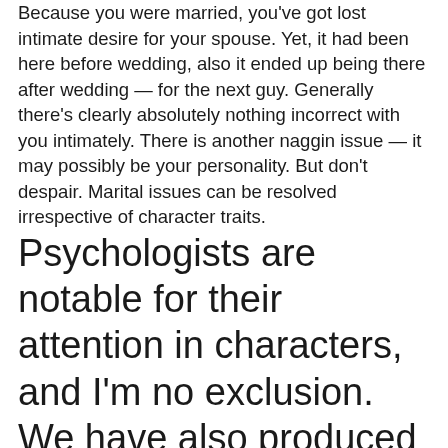Because you were married, you've got lost intimate desire for your spouse. Yet, it had been here before wedding, also it ended up being there after wedding — for the next guy. Generally there's clearly absolutely nothing incorrect with you intimately. There is another naggin issue — it may possibly be your personality. But don't despair. Marital issues can be resolved irrespective of character traits.
Psychologists are notable for their attention in characters, and I'm no exclusion. We have also produced my very own names for the host of character kinds i